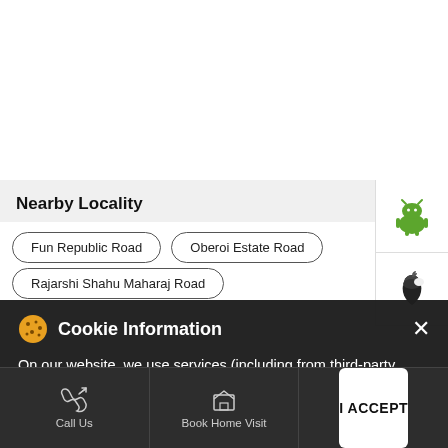Nearby Locality
Fun Republic Road
Oberoi Estate Road
Rajarshi Shahu Maharaj Road
Cookie Information
On our website, we use services (including from third-party providers) that help us to improve our online presence (optimization of website) and to display content that is geared to their interests. We need your consent before being able to use these services.
Call Us
Book Home Visit
Directions
I ACCEPT